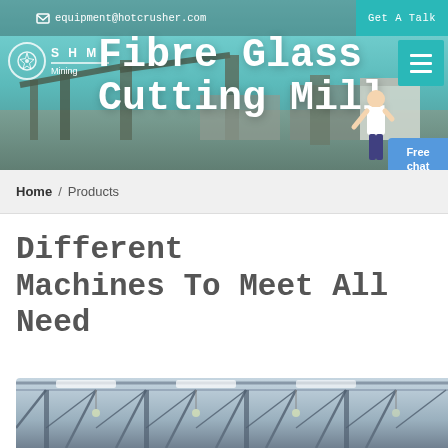equipment@hotcrusher.com  Get A Talk
Fibre Glass Cutting Mill
[Figure (screenshot): Website header banner with industrial mining equipment background, SHM Mining logo, navigation hamburger menu button, and Free chat button]
Home / Products
Different Machines To Meet All Need
[Figure (photo): Interior of an industrial manufacturing hall showing steel roof trusses and structural framework]